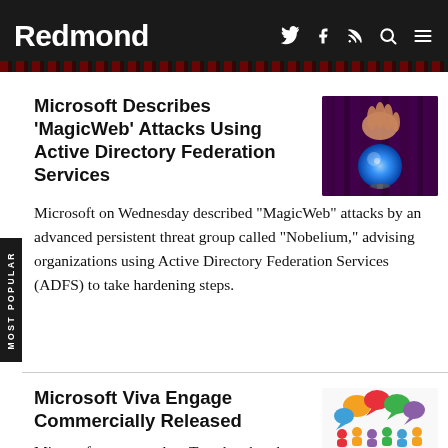Redmond
Microsoft Describes 'MagicWeb' Attacks Using Active Directory Federation Services
[Figure (photo): Hands holding a glowing blue crystal ball with purple curtain background]
Microsoft on Wednesday described "MagicWeb" attacks by an advanced persistent threat group called "Nobelium," advising organizations using Active Directory Federation Services (ADFS) to take hardening steps.
Microsoft Viva Engage Commercially Released
[Figure (illustration): Colorful speech bubble icons with people silhouettes below in various colors]
Microsoft announced on Tuesday that the Viva Engage app is now